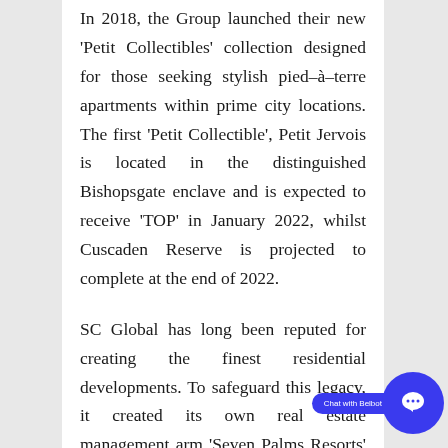In 2018, the Group launched their new 'Petit Collectibles' collection designed for those seeking stylish pied-à-terre apartments within prime city locations. The first 'Petit Collectible', Petit Jervois is located in the distinguished Bishopsgate enclave and is expected to receive 'TOP' in January 2022, whilst Cuscaden Reserve is projected to complete at the end of 2022.
SC Global has long been reputed for creating the finest residential developments. To safeguard this legacy, it created its own real estate management arm 'Seven Palms Resorts' which has managed over 650 luxury apartments within its portfolio, thus ensuring that the same dedicated care and attention is continued through in the